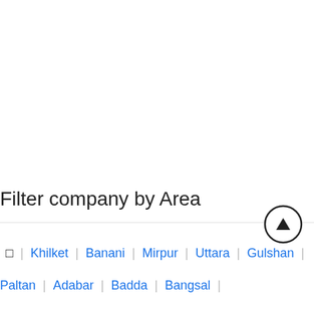Filter company by Area
□ | Khilket | Banani | Mirpur | Uttara | Gulshan |
Paltan | Adabar | Badda | Bangsal |